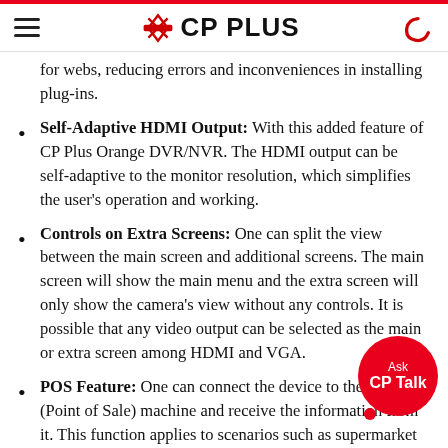CP PLUS
for webs, reducing errors and inconveniences in installing plug-ins.
Self-Adaptive HDMI Output: With this added feature of CP Plus Orange DVR/NVR. The HDMI output can be self-adaptive to the monitor resolution, which simplifies the user's operation and working.
Controls on Extra Screens: One can split the view between the main screen and additional screens. The main screen will show the main menu and the extra screen will only show the camera's view without any controls. It is possible that any video output can be selected as the main or extra screen among HDMI and VGA.
POS Feature: One can connect the device to the POS (Point of Sale) machine and receive the information from it. This function applies to scenarios such as supermarket POS machine etc. After the connection is established, the